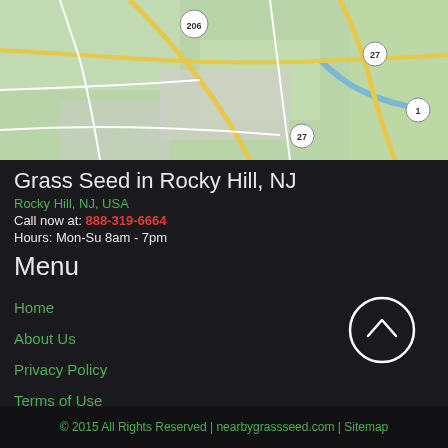[Figure (map): Street map showing Rocky Hill, NJ area with routes 206, 27, and 1 visible on a green/tan background]
Grass Seed in Rocky Hill, NJ
Rocky Hill, NJ, USA
Call now at: 888-319-6664
Hours: Mon-Su 8am - 7pm
Menu
Home
About Us
Privacy Policy
Terms of Use
© 2015 All Rights Reserved | nearbygrassseed.com | Sitemap